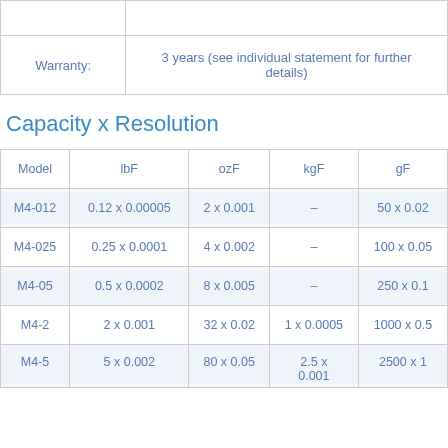|  |  |
| --- | --- |
|  |  |
| Warranty: | 3 years (see individual statement for further details) |
Capacity x Resolution
| Model | lbF | ozF | kgF | gF |
| --- | --- | --- | --- | --- |
| M4-012 | 0.12 x 0.00005 | 2 x 0.001 | – | 50 x 0.02 |
| M4-025 | 0.25 x 0.0001 | 4 x 0.002 | – | 100 x 0.05 |
| M4-05 | 0.5 x 0.0002 | 8 x 0.005 | – | 250 x 0.1 |
| M4-2 | 2 x 0.001 | 32 x 0.02 | 1 x 0.0005 | 1000 x 0.5 |
| M4-5 | 5 x 0.002 | 80 x 0.05 | 2.5 x 0.001 | 2500 x 1 |